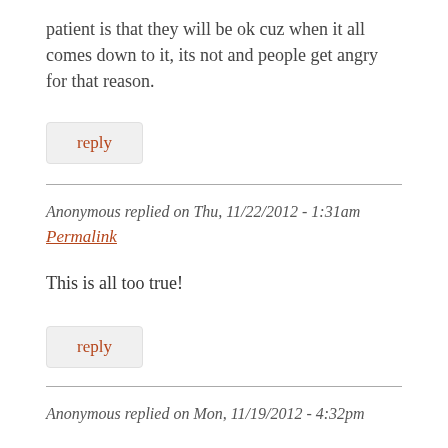patient is that they will be ok cuz when it all comes down to it, its not and people get angry for that reason.
reply
Anonymous replied on Thu, 11/22/2012 - 1:31am
Permalink
This is all too true!
reply
Anonymous replied on Mon, 11/19/2012 - 4:32pm